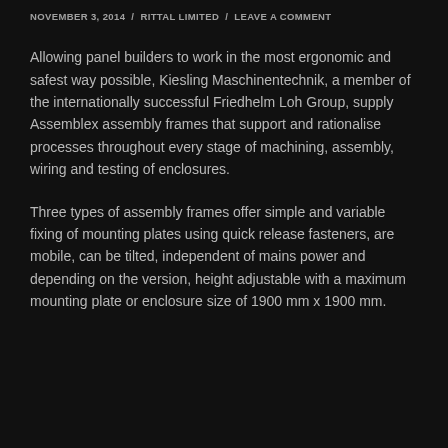NOVEMBER 3, 2014  /  RITTAL LIMITED  /  LEAVE A COMMENT
Allowing panel builders to work in the most ergonomic and safest way possible, Kiesling Maschinentechnik, a member of the internationally successful Friedhelm Loh Group, supply Assemblex assembly frames that support and rationalise processes throughout every stage of machining, assembly, wiring and testing of enclosures.
Three types of assembly frames offer simple and variable fixing of mounting plates using quick release fasteners, are mobile, can be tilted, independent of mains power and depending on the version, height adjustable with a maximum mounting plate or enclosure size of 1900 mm x 1900 mm.